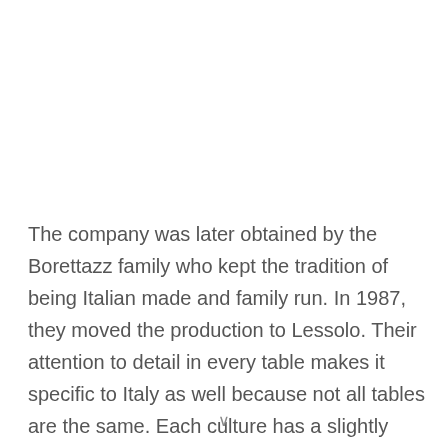The company was later obtained by the Borettazz family who kept the tradition of being Italian made and family run. In 1987, they moved the production to Lessolo. Their attention to detail in every table makes it specific to Italy as well because not all tables are the same. Each culture has a slightly different type of table to suit the needs of their players in mind. Italian Foosball players like a fast-